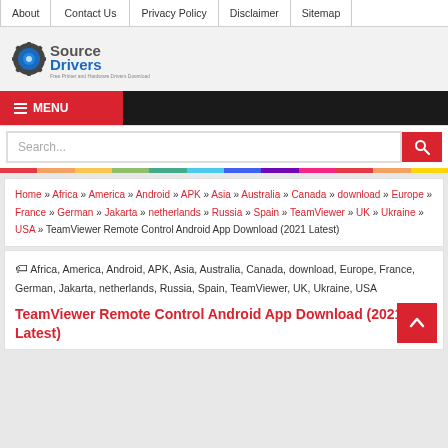About | Contact Us | Privacy Policy | Disclaimer | Sitemap
[Figure (logo): Source Drivers logo with gear/globe icon and text 'Source Drivers - Free Printer and Hardware Drivers Download']
☰ MENU
Search...
Home » Africa » America » Android » APK » Asia » Australia » Canada » download » Europe » France » German » Jakarta » netherlands » Russia » Spain » TeamViewer » UK » Ukraine » USA » TeamViewer Remote Control Android App Download (2021 Latest)
🏷 Africa, America, Android, APK, Asia, Australia, Canada, download, Europe, France, German, Jakarta, netherlands, Russia, Spain, TeamViewer, UK, Ukraine, USA
TeamViewer Remote Control Android App Download (2021 Latest)